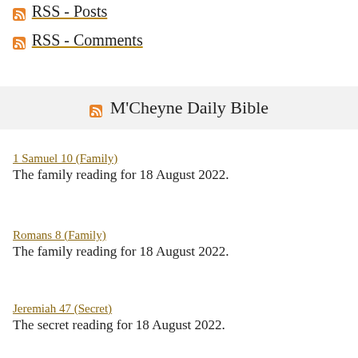RSS - Posts
RSS - Comments
M'Cheyne Daily Bible
1 Samuel 10 (Family)
The family reading for 18 August 2022.
Romans 8 (Family)
The family reading for 18 August 2022.
Jeremiah 47 (Secret)
The secret reading for 18 August 2022.